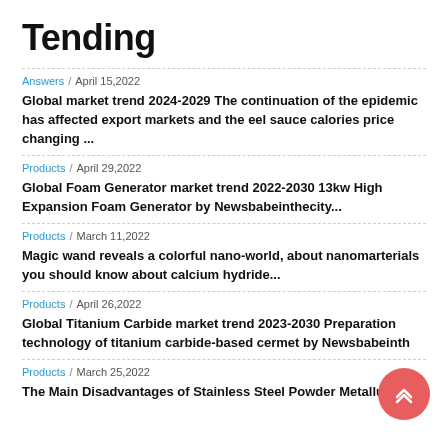Tending
Answers / April 15,2022 — Global market trend 2024-2029 The continuation of the epidemic has affected export markets and the eel sauce calories price changing ...
Products / April 29,2022 — Global Foam Generator market trend 2022-2030 13kw High Expansion Foam Generator by Newsbabeinthecity...
Products / March 11,2022 — Magic wand reveals a colorful nano-world, about nanomarterials you should know about calcium hydride...
Products / April 26,2022 — Global Titanium Carbide market trend 2023-2030 Preparation technology of titanium carbide-based cermet by Newsbabeinth
Products / March 25,2022 — The Main Disadvantages of Stainless Steel Powder Metallurgy